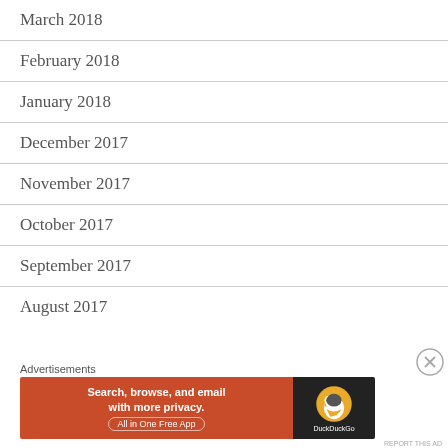March 2018
February 2018
January 2018
December 2017
November 2017
October 2017
September 2017
August 2017
[Figure (screenshot): DuckDuckGo advertisement banner: 'Search, browse, and email with more privacy. All in One Free App' with DuckDuckGo logo on dark background]
REPORT THIS AD